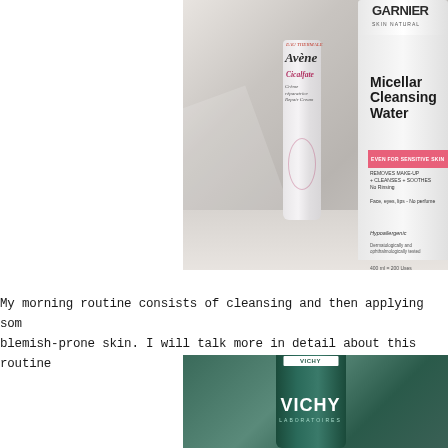[Figure (photo): Photo of two skincare products on a light surface: Eau Thermale Avène Cicalfate Repair Cream tube and Garnier Skin Naturals Micellar Cleansing Water bottle]
My morning routine consists of cleansing and then applying som blemish-prone skin. I will talk more in detail about this routine
[Figure (photo): Photo of a Vichy Laboratoires dark teal/green product tube, with watermark www.paperlovestory.com]